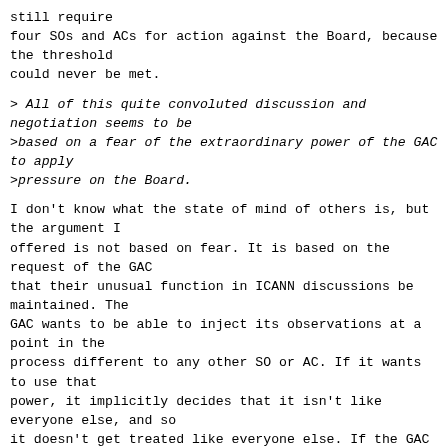still require
four SOs and ACs for action against the Board, because the threshold
could never be met.
> All of this quite convoluted discussion and negotiation seems to be
>based on a fear of the extraordinary power of the GAC to apply
>pressure on the Board.
I don't know what the state of mind of others is, but the argument I offered is not based on fear. It is based on the request of the GAC that their unusual function in ICANN discussions be maintained. The GAC wants to be able to inject its observations at a point in the process different to any other SO or AC. If it wants to use that power, it implicitly decides that it isn't like everyone else, and so it doesn't get treated like everyone else. If the GAC wants to be treated like everyone else, it gets to choose to do that, too.
> As the recent IRP ruling made clear, the Board cannot justify an